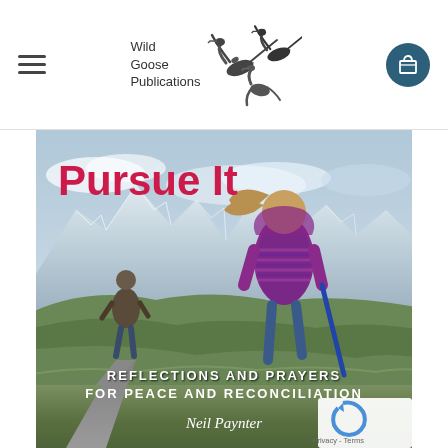Wild Goose Publications
[Figure (photo): Book cover of 'Pursue It: Reflections and Prayers for Peace and Reconciliation' by Neil Paynter. Cover shows a child in a striped purple jacket and an adult walking away from the camera along a mountain path with scenic highland landscape in the background. The title 'Pursue It' appears in large red text at top left, subtitle 'Reflections and Prayers for Peace and Reconciliation' appears in white capital letters near the bottom, and author name 'Neil Paynter' appears in white italic text at the very bottom.]